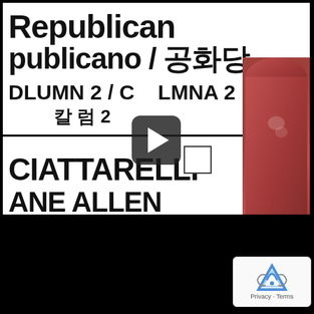[Figure (screenshot): A screenshot of a video showing a close-up of a ballot paper with Republican / 공화당 header, COLUMN 2 / COLUMNA 2 / 칼럼 2 label, candidate names CIATTARELLI and ALLEN visible, with a finger pointing at a checkbox. A play button overlay is shown in the center. A reCAPTCHA badge appears in the bottom right corner.]